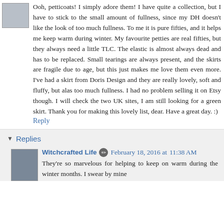[Figure (photo): Small avatar image thumbnail in top left corner]
Ooh, petticoats! I simply adore them! I have quite a collection, but I have to stick to the small amount of fullness, since my DH doesn't like the look of too much fullness. To me it is pure fifties, and it helps me keep warm during winter. My favourite petties are real fifties, but they always need a little TLC. The elastic is almost always dead and has to be replaced. Small tearings are always present, and the skirts are fragile due to age, but this just makes me love them even more. I've had a skirt from Doris Design and they are really lovely, soft and fluffy, but alas too much fullness. I had no problem selling it on Etsy though. I will check the two UK sites, I am still looking for a green skirt. Thank you for making this lovely list, dear. Have a great day. :)
Reply
Replies
[Figure (photo): Profile photo of Witchcrafted Life author]
Witchcrafted Life  February 18, 2016 at 11:38 AM
They're so marvelous for helping to keep on warm during the winter months. I swear by mine